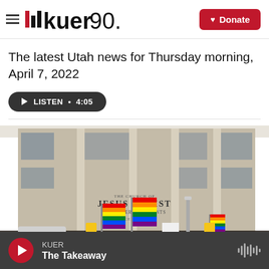KUER 90.1 — Donate
The latest Utah news for Thursday morning, April 7, 2022
LISTEN • 4:05
[Figure (photo): Crowd of people holding rainbow Pride flags gathered outside The Church of Jesus Christ of Latter-Day Saints Office Building]
KUER
The Takeaway